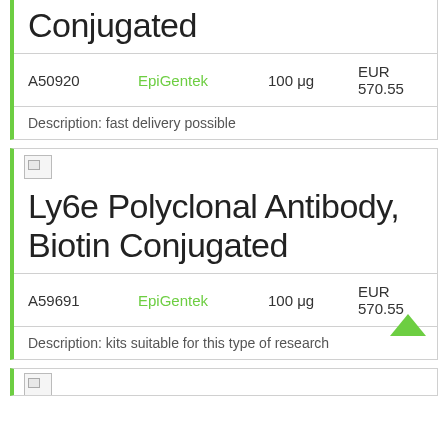Conjugated
| ID | Vendor | Qty | Price |
| --- | --- | --- | --- |
| A50920 | EpiGentek | 100 μg | EUR 570.55 |
Description: fast delivery possible
[Figure (other): Product image placeholder icon]
Ly6e Polyclonal Antibody, Biotin Conjugated
| ID | Vendor | Qty | Price |
| --- | --- | --- | --- |
| A59691 | EpiGentek | 100 μg | EUR 570.55 |
Description: kits suitable for this type of research